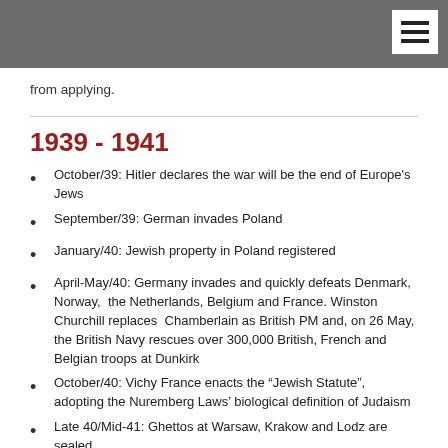from applying.
1939 - 1941
October/39: Hitler declares the war will be the end of Europe's Jews
September/39: German invades Poland
January/40: Jewish property in Poland registered
April-May/40: Germany invades and quickly defeats Denmark, Norway,  the Netherlands, Belgium and France. Winston Churchill replaces  Chamberlain as British PM and, on 26 May, the British Navy rescues over 300,000 British, French and Belgian troops at Dunkirk
October/40: Vichy France enacts the “Jewish Statute”, adopting the Nuremberg Laws’ biological definition of Judaism
Late 40/Mid-41: Ghettos at Warsaw, Krakow and Lodz are sealed